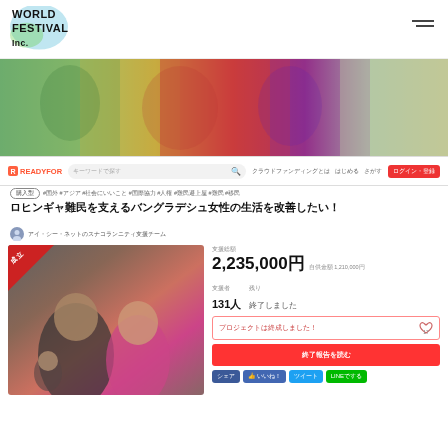WORLD FESTIVAL Inc.
[Figure (photo): Hero banner showing women in colorful traditional clothing from Bangladesh/South Asia]
[Figure (screenshot): READYFOR crowdfunding platform navigation bar with search, links and login button]
購入型 #国外 #アジア #社会にいいこと #国際協力 #人権 #難民避上屋 #難民 #移民
ロヒンギャ難民を支えるバングラデシュ女性の生活を改善したい！
アイ・シー・ネットのスナコランニティ支援チーム
[Figure (photo): Photo of Rohingya women smiling, with 成立 (success) badge in top left corner]
支援総額
2,235,000円 自供金額 1,210,000円
支援者 残り
131人 終了しました
プロジェクトは終成しました！
終了報告を読む
シェア いいね！ ツイート LINEでする